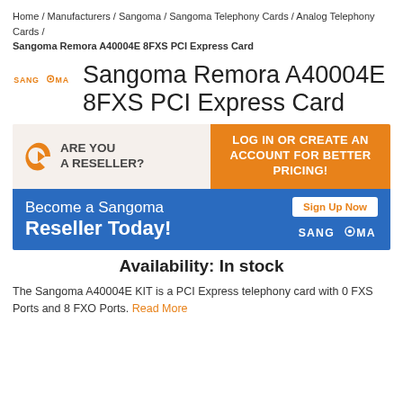Home / Manufacturers / Sangoma / Sangoma Telephony Cards / Analog Telephony Cards / Sangoma Remora A40004E 8FXS PCI Express Card
Sangoma Remora A40004E 8FXS PCI Express Card
[Figure (infographic): Reseller promotional banner with two sections: top section has orange arrow logo, 'ARE YOU A RESELLER?' text on light background and 'LOG IN OR CREATE AN ACCOUNT FOR BETTER PRICING!' on orange background. Bottom section on blue background says 'Become a Sangoma Reseller Today!' with 'Sign Up Now' button and Sangoma logo.]
Availability: In stock
The Sangoma A40004E KIT is a PCI Express telephony card with 0 FXS Ports and 8 FXO Ports. Read More